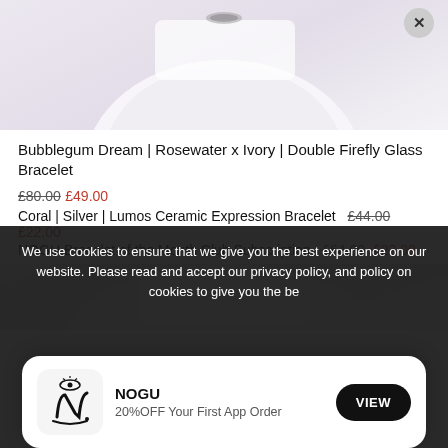[Figure (photo): Partial view of a person wearing a white long-sleeve shirt, with a bracelet visible on the wrist, cropped to show arm/torso area against a light lavender-gray background.]
Bubblegum Dream | Rosewater x Ivory | Double Firefly Glass Bracelet
£80.00 £49.00
Coral | Silver | Lumos Ceramic Expression Bracelet  £44.00 £22.00
NOGU Bracelet of the Month Club Subscription  £64.00 £23.00
[Figure (photo): Lower portion of a person wearing a white outfit, with a bracelet on the wrist, light gray-lavender background.]
We use cookies to ensure that we give you the best experience on our website. Please read and accept our privacy policy, and policy on cookies to give you the be
[Figure (logo): NOGU brand logo — stylized letter N with an eye motif above it, in black.]
NOGU
20%OFF Your First App Order